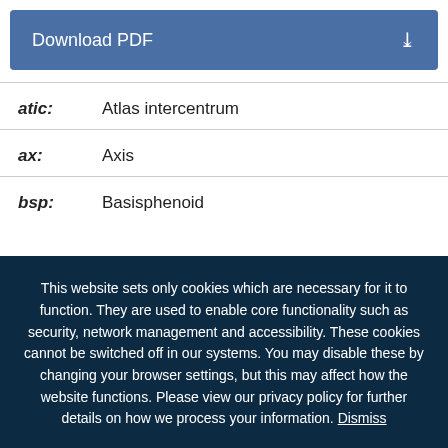[Figure (other): Download PDF button with download icon]
atic: Atlas intercentrum
ax: Axis
bsp: Basisphenoid
This website sets only cookies which are necessary for it to function. They are used to enable core functionality such as security, network management and accessibility. These cookies cannot be switched off in our systems. You may disable these by changing your browser settings, but this may affect how the website functions. Please view our privacy policy for further details on how we process your information. Dismiss